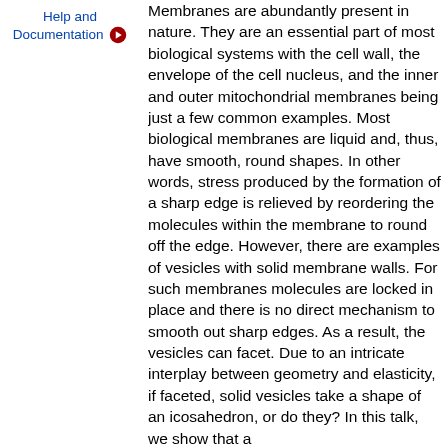Help and Documentation
Membranes are abundantly present in nature. They are an essential part of most biological systems with the cell wall, the envelope of the cell nucleus, and the inner and outer mitochondrial membranes being just a few common examples. Most biological membranes are liquid and, thus, have smooth, round shapes. In other words, stress produced by the formation of a sharp edge is relieved by reordering the molecules within the membrane to round off the edge. However, there are examples of vesicles with solid membrane walls. For such membranes molecules are locked in place and there is no direct mechanism to smooth out sharp edges. As a result, the vesicles can facet. Due to an intricate interplay between geometry and elasticity, if faceted, solid vesicles take a shape of an icosahedron, or do they? In this talk, we show that a